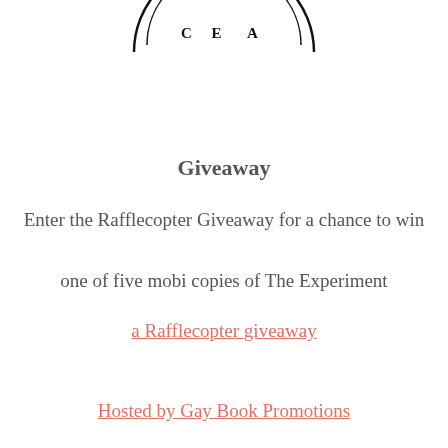[Figure (logo): Partial circular logo/seal with text visible: 'C E   A' along the bottom arc, shown cropped at the top of the page]
Giveaway
Enter the Rafflecopter Giveaway for a chance to win one of five mobi copies of The Experiment
a Rafflecopter giveaway
Hosted by Gay Book Promotions